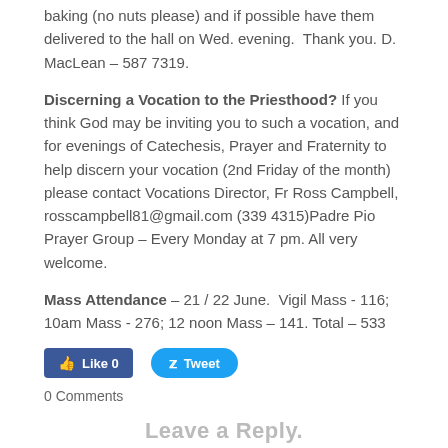baking (no nuts please) and if possible have them delivered to the hall on Wed. evening.  Thank you. D. MacLean – 587 7319.
Discerning a Vocation to the Priesthood? If you think God may be inviting you to such a vocation, and for evenings of Catechesis, Prayer and Fraternity to help discern your vocation (2nd Friday of the month) please contact Vocations Director, Fr Ross Campbell, rosscampbell81@gmail.com (339 4315)Padre Pio Prayer Group – Every Monday at 7 pm. All very welcome.
Mass Attendance – 21 / 22 June.  Vigil Mass - 116; 10am Mass - 276; 12 noon Mass – 141. Total – 533
[Figure (screenshot): Social media buttons: Facebook Like (count 0) and Twitter Tweet buttons]
0 Comments
Leave a Reply.
Name (required)